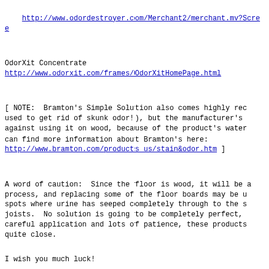http://www.odordestroyer.com/Merchant2/merchant.mv?Scree
OdorXit Concentrate
http://www.odorxit.com/frames/OdorXitHomePage.html
[ NOTE:  Bramton's Simple Solution also comes highly rec
used to get rid of skunk odor!), but the manufacturer's
against using it on wood, because of the product's water
can find more information about Bramton's here:
http://www.bramton.com/products_us/stain&odor.htm ]
A word of caution:  Since the floor is wood, it will be a
process, and replacing some of the floor boards may be u
spots where urine has seeped completely through to the s
joists.  No solution is going to be completely perfect,
careful application and lots of patience, these products
quite close.
I wish you much luck!
--Missy
Search terms:  [ remove cat urine odors ], and a few pho
Request for Answer Clarification by radish47-ga on 15 Feb 2004 1
All of these products are American are there any lo
Clarification of Answer - on 15 Feb 2004 17:11 PST